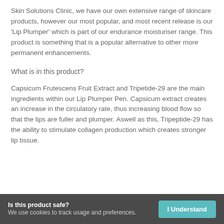Skin Solutions Clinic, we have our own extensive range of skincare products, however our most popular, and most recent release is our 'Lip Plumper' which is part of our endurance moisturiser range. This product is something that is a popular alternative to other more permanent enhancements.
What is in this product?
Capsicum Frutescens Fruit Extract and Tripetide-29 are the main ingredients within our Lip Plumper Pen. Capsicum extract creates an increase in the circulatory rate, thus increasing blood flow so that the lips are fuller and plumper. Aswell as this, Tripeptide-29 has the ability to stimulate collagen production which creates stronger lip tissue.
Is this product safe?
We use cookies to track usage and preferences. | I Understand